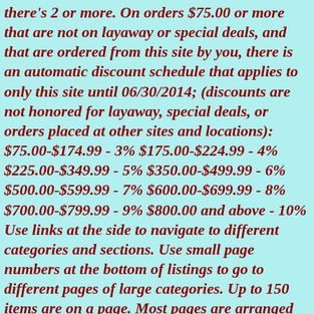there's 2 or more. On orders $75.00 or more that are not on layaway or special deals, and that are ordered from this site by you, there is an automatic discount schedule that applies to only this site until 06/30/2014; (discounts are not honored for layaway, special deals, or orders placed at other sites and locations): $75.00-$174.99 - 3% $175.00-$224.99 - 4% $225.00-$349.99 - 5% $350.00-$499.99 - 6% $500.00-$599.99 - 7% $600.00-$699.99 - 8% $700.00-$799.99 - 9% $800.00 and above - 10% Use links at the side to navigate to different categories and sections. Use small page numbers at the bottom of listings to go to different pages of large categories. Up to 150 items are on a page. Most pages are arranged by stock